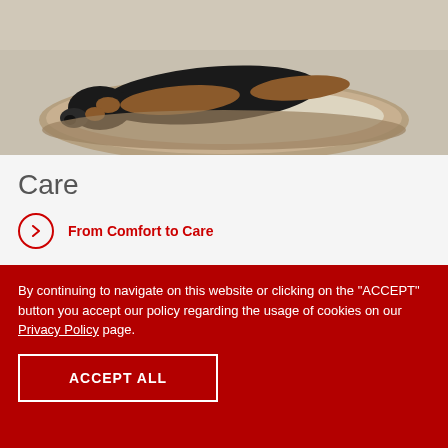[Figure (photo): A dachshund dog lying on a dog bed, photographed from above. The dog is black and tan, resting on a beige/brown cushioned pet bed.]
Care
From Comfort to Care
By continuing to navigate on this website or clicking on the "ACCEPT" button you accept our policy regarding the usage of cookies on our Privacy Policy page.
ACCEPT ALL